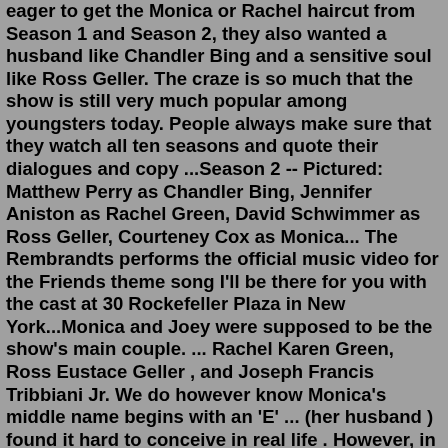eager to get the Monica or Rachel haircut from Season 1 and Season 2, they also wanted a husband like Chandler Bing and a sensitive soul like Ross Geller. The craze is so much that the show is still very much popular among youngsters today. People always make sure that they watch all ten seasons and quote their dialogues and copy ...Season 2 -- Pictured: Matthew Perry as Chandler Bing, Jennifer Aniston as Rachel Green, David Schwimmer as Ross Geller, Courteney Cox as Monica... The Rembrandts performs the official music video for the Friends theme song I'll be there for you with the cast at 30 Rockefeller Plaza in New York...Monica and Joey were supposed to be the show's main couple. ... Rachel Karen Green, Ross Eustace Geller , and Joseph Francis Tribbiani Jr. We do however know Monica's middle name begins with an 'E' ... (her husband ) found it hard to conceive in real life . However, in the last season, Courteney is seen wearing baggy clothes and scarves to.After having a fight with Chandler, Joey decides to move out. Rachel